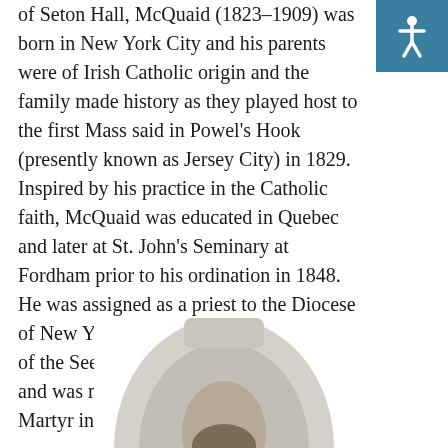of Seton Hall, McQuaid (1823–1909) was born in New York City and his parents were of Irish Catholic origin and the family made history as they played host to the first Mass said in Powel's Hook (presently known as Jersey City) in 1829.  Inspired by his practice in the Catholic faith, McQuaid was educated in Quebec and later at St. John's Seminary at Fordham prior to his ordination in 1848.  He was assigned as a priest to the Diocese of New York and preceding the creation of the See of Newark (five years later) and was made a curate at St. Vincent Martyr in Madison, New Jersey.
[Figure (photo): Black and white oval portrait photograph of a person, cropped to show head and upper shoulders, bottom portion of the image visible at the bottom of the page.]